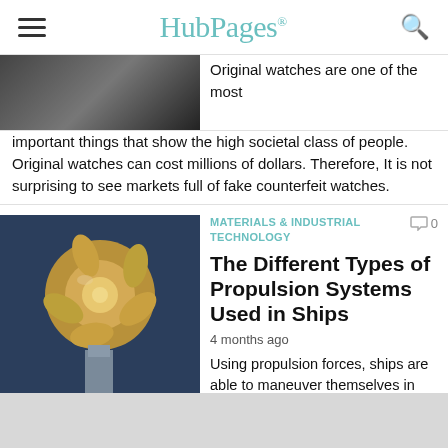HubPages
[Figure (photo): Partial image of a watch or dark mechanical object, cropped at top]
Original watches are one of the most important things that show the high societal class of people. Original watches can cost millions of dollars. Therefore, It is not surprising to see markets full of fake counterfeit watches.
[Figure (photo): Close-up photo of a ship propulsion system showing bronze/gold propeller shaft components against a blue background]
MATERIALS & INDUSTRIAL TECHNOLOGY
The Different Types of Propulsion Systems Used in Ships
4 months ago
Using propulsion forces, ships are able to maneuver themselves in the water. Initially, there were a limited number of propulsion systems, but currently there are many progressions. Today, ships propulsion is only the means to move the ship, but also takes into account marine environment.